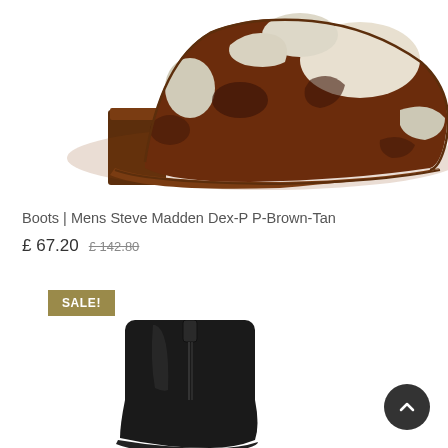[Figure (photo): A cowhide print boot (brown and white) with a brown block heel, shown from the side on a white background.]
Boots | Mens Steve Madden Dex-P P-Brown-Tan
£ 67.20  £ 142.80
SALE!
[Figure (photo): A black leather ankle boot shown from the front/back on a white background, with a pull tab at the top.]